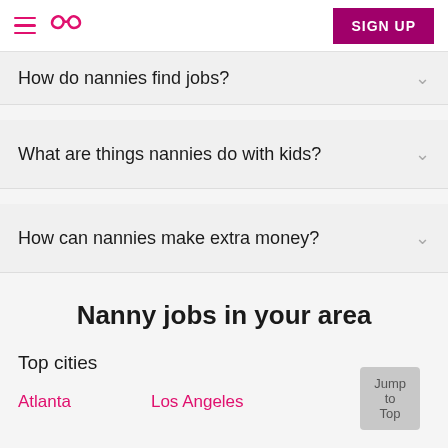Sittercity navigation bar with hamburger menu, logo, and SIGN UP button
How do nannies find jobs?
What are things nannies do with kids?
How can nannies make extra money?
Nanny jobs in your area
Top cities
Atlanta
Los Angeles